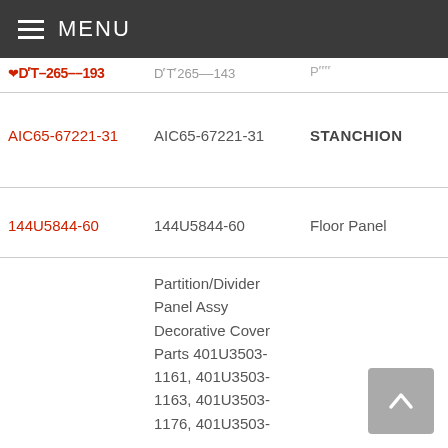MENU
| Part Link | Part Number | Description | Details |
| --- | --- | --- | --- |
| (cut off) | (cut off) | (cut off) | s |
| AIC65-67221-31 | AIC65-67221-31 | STANCHION | 1
1 |
| 144U5844-60 | 144U5844-60 | Floor Panel | E
S |
|  | Partition/Divider Panel Assy Decorative Cover Parts 401U3503-1161, 401U3503-1163, 401U3503-1176, 401U3503- |  |  |